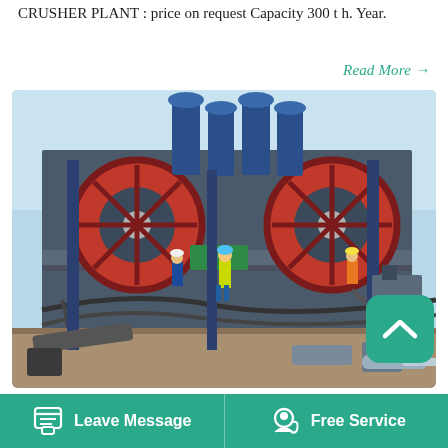CRUSHER PLANT : price on request Capacity 300 t h. Year.
Read More →
[Figure (photo): Industrial crusher plant with large red flywheels, blue machinery towers, conveyor systems, and workers in safety gear on the platform.]
Tph Crusher Plant For Aggregate Georgia
Leave Message
Free Service